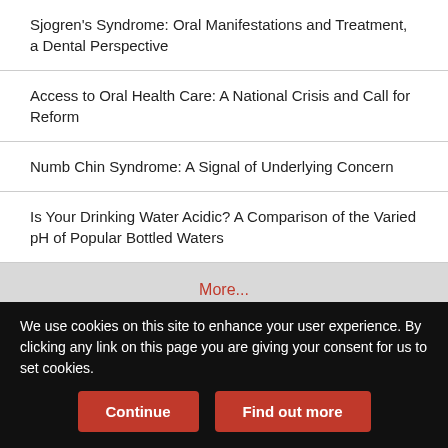Sjogren's Syndrome: Oral Manifestations and Treatment, a Dental Perspective
Access to Oral Health Care: A National Crisis and Call for Reform
Numb Chin Syndrome: A Signal of Underlying Concern
Is Your Drinking Water Acidic? A Comparison of the Varied pH of Popular Bottled Waters
More...
About
We use cookies on this site to enhance your user experience. By clicking any link on this page you are giving your consent for us to set cookies.
Continue
Find out more